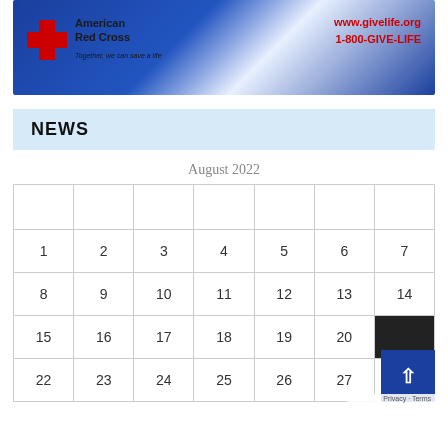[Figure (photo): American Red Cross banner with logo, www.givelife.org and 1-800-GIVE-LIFE]
NEWS
August 2022
|  |  |  |  |  |  |  |
| --- | --- | --- | --- | --- | --- | --- |
| 1 | 2 | 3 | 4 | 5 | 6 | 7 |
| 8 | 9 | 10 | 11 | 12 | 13 | 14 |
| 15 | 16 | 17 | 18 | 19 | 20 |  |
| 22 | 23 | 24 | 25 | 26 | 27 | 28 |